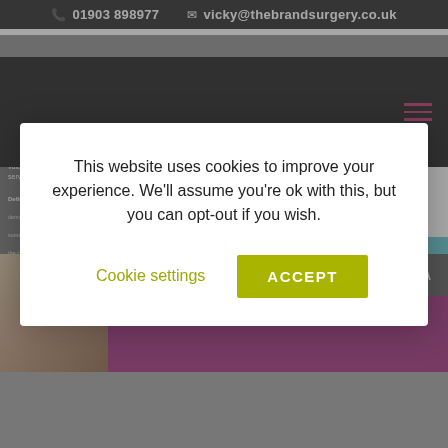📞 01903 898977  ✉ vicky@thebrandsurgery.co.uk
[Figure (screenshot): Dark hero navigation area with pink hamburger menu icon]
[Figure (screenshot): Background page content showing lese logo, sector expertise health & social care bar, purple executive summary card, grey info card with value demand text, and healthcare photo]
This website uses cookies to improve your experience. We'll assume you're ok with this, but you can opt-out if you wish.
Cookie settings
ACCEPT